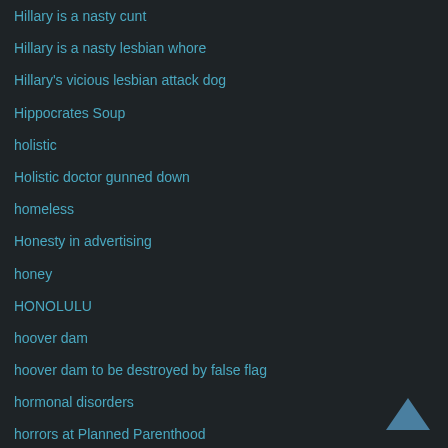Hillary is a nasty cunt
Hillary is a nasty lesbian whore
Hillary's vicious lesbian attack dog
Hippocrates Soup
holistic
Holistic doctor gunned down
homeless
Honesty in advertising
honey
HONOLULU
hoover dam
hoover dam to be destroyed by false flag
hormonal disorders
horrors at Planned Parenthood
Horse meat food